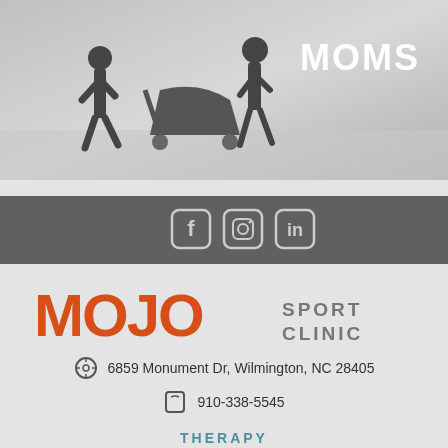[Figure (photo): Grayscale image of people walking/jogging with a stroller on a beach. White text 'MOMS' in the top right corner of the image.]
[Figure (infographic): Dark gray bar with Facebook, Instagram, and LinkedIn social media icons in white/light gray]
[Figure (logo): MOJO Sport Clinic logo — MOJO in large orange bold text, SPORT CLINIC in smaller gray text to the right]
6859 Monument Dr, Wilmington, NC 28405
910-338-5545
THERAPY